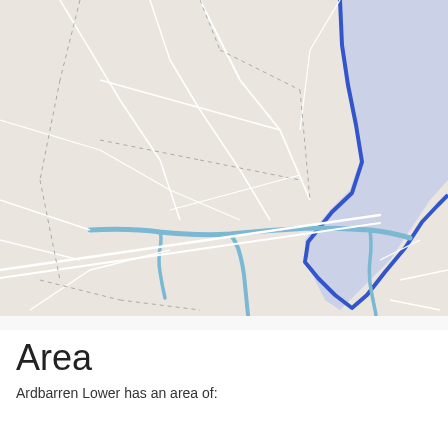[Figure (map): A map showing Ardbarren Lower area with roads (white lines), dotted boundary lines, a blue highlighted boundary region on the right side indicating a water body or administrative area, and light blue river/stream lines running through the center and lower portion of the map. The background is a light beige/cream color typical of OpenStreetMap-style maps.]
Area
Ardbarren Lower has an area of: